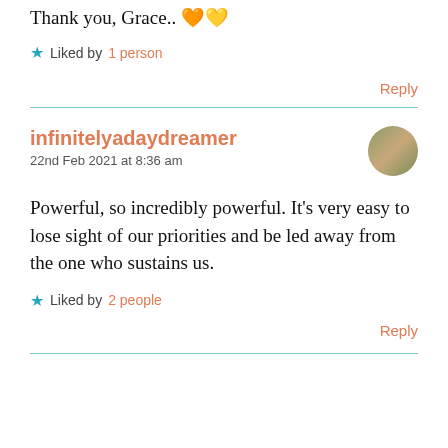Thank you, Grace.. 🧡💛
★ Liked by 1 person
Reply
infinitelyadaydreamer
22nd Feb 2021 at 8:36 am
Powerful, so incredibly powerful. It's very easy to lose sight of our priorities and be led away from the one who sustains us.
★ Liked by 2 people
Reply